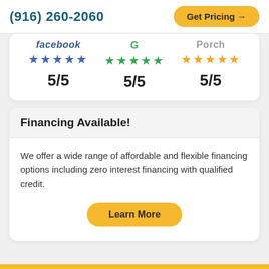(916) 260-2060  Get Pricing →
[Figure (infographic): Three platform ratings shown side by side: Facebook 5/5 stars (blue), Google 5/5 stars (green), Porch 5/5 stars (gold)]
Financing Available!
We offer a wide range of affordable and flexible financing options including zero interest financing with qualified credit.
Learn More